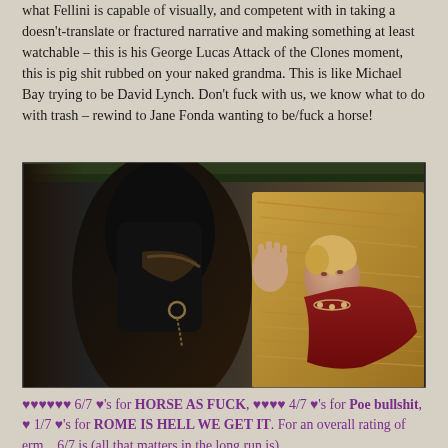what Fellini is capable of visually, and competent with in taking a doesn't-translate or fractured narrative and making something at least watchable – this is his George Lucas Attack of the Clones moment, this is pig shit rubbed on your naked grandma. This is like Michael Bay trying to be David Lynch. Don't fuck with us, we know what to do with trash – rewind to Jane Fonda wanting to be/fuck a horse!
[Figure (photo): A woman with blonde hair wearing a red cape reaches up to touch a dark horse in a stable setting with hay visible in the background.]
♥♥♥♥♥♥ 6/7 ♥'s for HORSE AS FUCK, ♥♥♥♥ 4/7 ♥'s for Poe bullshit, ♥ 1/7 ♥'s for ROME IS HELL WE GET IT. For an overall rating of erm... 6/7 is (all that matters in the long run isn)